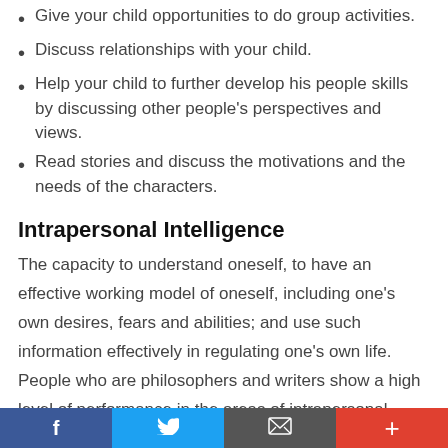Give your child opportunities to do group activities.
Discuss relationships with your child.
Help your child to further develop his people skills by discussing other people's perspectives and views.
Read stories and discuss the motivations and the needs of the characters.
Intrapersonal Intelligence
The capacity to understand oneself, to have an effective working model of oneself, including one's own desires, fears and abilities; and use such information effectively in regulating one's own life. People who are philosophers and writers show a high level of performance in the areas of intrapersonal intelligence.
Some children show an early ability to understand their